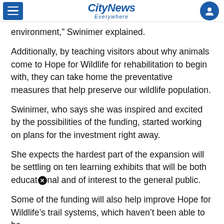CityNews Everywhere
environment,” Swinimer explained.
Additionally, by teaching visitors about why animals come to Hope for Wildlife for rehabilitation to begin with, they can take home the preventative measures that help preserve our wildlife population.
Swinimer, who says she was inspired and excited by the possibilities of the funding, started working on plans for the investment right away.
She expects the hardest part of the expansion will be settling on ten learning exhibits that will be both educational and of interest to the general public.
Some of the funding will also help improve Hope for Wildlife’s trail systems, which haven’t been able to be